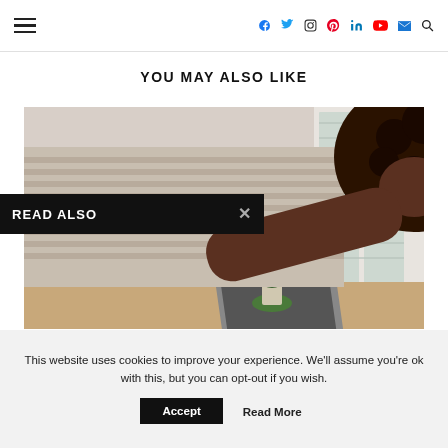Navigation bar with hamburger menu and social icons: Facebook, Twitter, Instagram, Pinterest, LinkedIn, YouTube, Email, Search
YOU MAY ALSO LIKE
[Figure (photo): A person with curly black hair in a striped shirt bending over a desk with a laptop and a small potted plant, bright window in background]
READ ALSO
This website uses cookies to improve your experience. We'll assume you're ok with this, but you can opt-out if you wish.
Accept
Read More